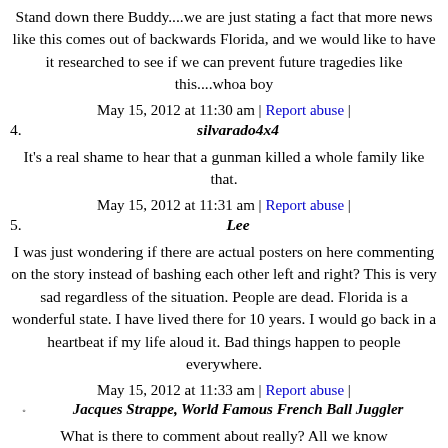Stand down there Buddy....we are just stating a fact that more news like this comes out of backwards Florida, and we would like to have it researched to see if we can prevent future tragedies like this....whoa boy
May 15, 2012 at 11:30 am | Report abuse |
4. silvarado4x4
It's a real shame to hear that a gunman killed a whole family like that.
May 15, 2012 at 11:31 am | Report abuse |
5. Lee
I was just wondering if there are actual posters on here commenting on the story instead of bashing each other left and right? This is very sad regardless of the situation. People are dead. Florida is a wonderful state. I have lived there for 10 years. I would go back in a heartbeat if my life aloud it. Bad things happen to people everywhere.
May 15, 2012 at 11:33 am | Report abuse |
◦ Jacques Strappe, World Famous French Ball Juggler
What is there to comment about really? All we know